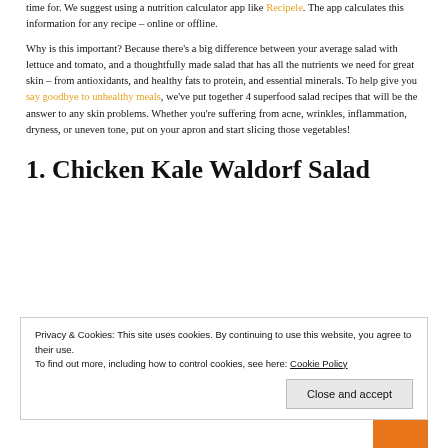time for. We suggest using a nutrition calculator app like Recipele. The app calculates this information for any recipe – online or offline.
Why is this important? Because there's a big difference between your average salad with lettuce and tomato, and a thoughtfully made salad that has all the nutrients we need for great skin – from antioxidants, and healthy fats to protein, and essential minerals. To help give you say goodbye to unhealthy meals, we've put together 4 superfood salad recipes that will be the answer to any skin problems. Whether you're suffering from acne, wrinkles, inflammation, dryness, or uneven tone, put on your apron and start slicing those vegetables!
1. Chicken Kale Waldorf Salad
Privacy & Cookies: This site uses cookies. By continuing to use this website, you agree to their use. To find out more, including how to control cookies, see here: Cookie Policy